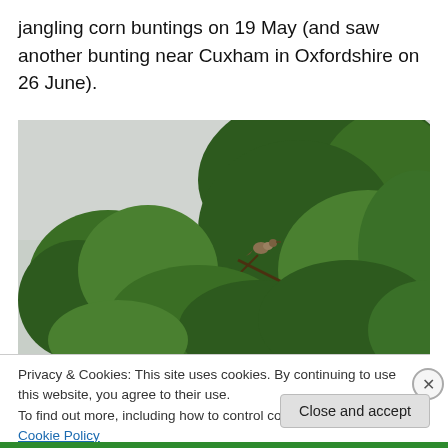jangling corn buntings on 19 May (and saw another bunting near Cuxham in Oxfordshire on 26 June).
[Figure (photo): A small brown bird (corn bunting) perched on a branch, surrounded by dense green tree foliage against a pale grey sky.]
Privacy & Cookies: This site uses cookies. By continuing to use this website, you agree to their use.
To find out more, including how to control cookies, see here: Cookie Policy
Close and accept